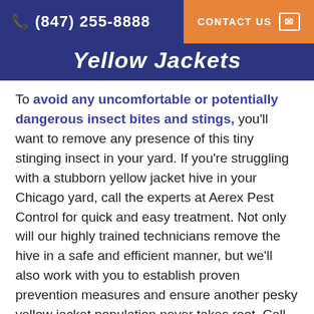(847) 255-8888  CONTACT US
Yellow Jackets
To avoid any uncomfortable or potentially dangerous insect bites and stings, you'll want to remove any presence of this tiny stinging insect in your yard. If you're struggling with a stubborn yellow jacket hive in your Chicago yard, call the experts at Aerex Pest Control for quick and easy treatment. Not only will our highly trained technicians remove the hive in a safe and efficient manner, but we'll also work with you to establish proven prevention measures and ensure another pesky yellow jacket population never takes root. Call now to schedule your inspection and find out what the pest control pros at Aerex Pest Control can do for you.